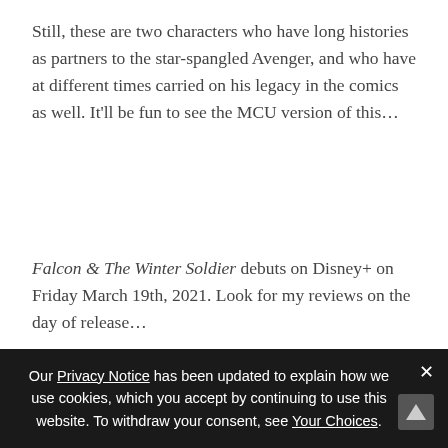Still, these are two characters who have long histories as partners to the star-spangled Avenger, and who have at different times carried on his legacy in the comics as well. It'll be fun to see the MCU version of this...
Falcon & The Winter Soldier debuts on Disney+ on Friday March 19th, 2021. Look for my reviews on the day of release...
Keith R.A. DeCandido has been writing for Tor.com since
Our Privacy Notice has been updated to explain how we use cookies, which you accept by continuing to use this website. To withdraw your consent, see Your Choices.